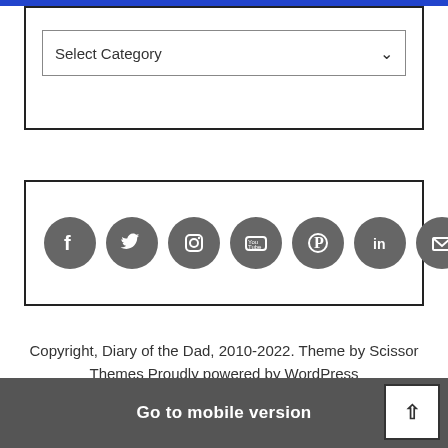[Figure (screenshot): Dropdown select box labeled 'Select Category' with a down chevron arrow, inside a bordered container]
[Figure (infographic): Row of 8 dark gray circular social media icons: Facebook, Twitter, Instagram, YouTube, Pinterest, LinkedIn, Email, RSS]
Copyright, Diary of the Dad, 2010-2022. Theme by Scissor Themes Proudly powered by WordPress
Go to mobile version